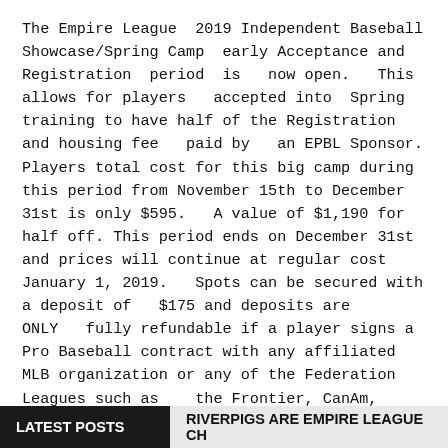The Empire League 2019 Independent Baseball Showcase/Spring Camp early Acceptance and Registration period is now open. This allows for players accepted into Spring training to have half of the Registration and housing fee paid by an EPBL Sponsor. Players total cost for this big camp during this period from November 15th to December 31st is only $595. A value of $1,190 for half off. This period ends on December 31st and prices will continue at regular cost January 1, 2019. Spots can be secured with a deposit of $175 and deposits are ONLY fully refundable if a player signs a Pro Baseball contract with any affiliated MLB organization or any of the Federation Leagues such as the Frontier, CanAm, American Association, and the Atlantic League. Otherwise the deposits are NON REFUNDABLE.
LATEST POSTS  RIVERPIGS ARE EMPIRE LEAGUE CH